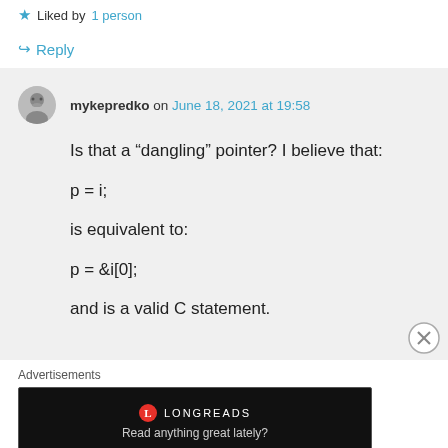★ Liked by 1 person
↪ Reply
mykepredko on June 18, 2021 at 19:58
Is that a “dangling” pointer? I believe that:
p = i;
is equivalent to:
p = &i[0];
and is a valid C statement.
Advertisements
[Figure (other): Longreads advertisement banner: 'Read anything great lately?']